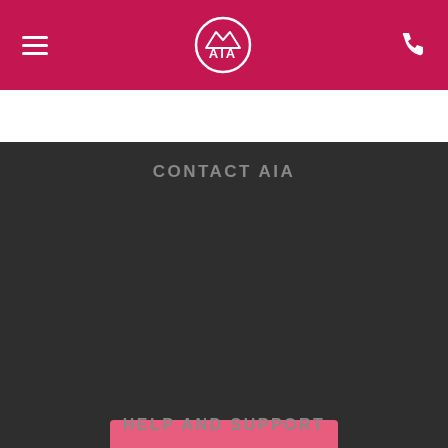[Figure (logo): AIA insurance company logo - white circular logo with mountain/bird design and AIA text, on crimson red navigation bar with hamburger menu on left and phone icon on right]
← CAMPAIGNS   PREV
CONTACT AIA
Choose your preferred way to receive information and support
VIEW OPTIONS
HELP AND SUPPORT